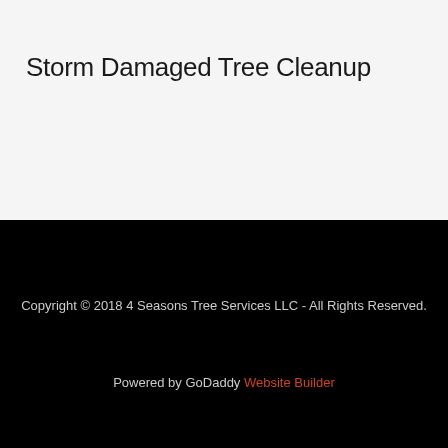Storm Damaged Tree Cleanup
Copyright © 2018 4 Seasons Tree Services LLC - All Rights Reserved.
Powered by GoDaddy Website Builder